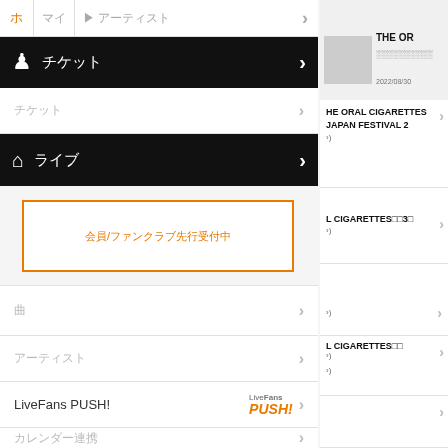ホーム | マイページ > アーティスト
チケット
ライブ
会員/ファンクラブ先行受付中
曲
アーティスト
LiveFans PUSH!
カレンダー連携
設定
設定
THE OR
HE ORAL CIGARETTES JAPAN FESTIVAL 2
L CIGARETTES 30
L CIGARETTES P
L CIGARETTES
2022/08/30